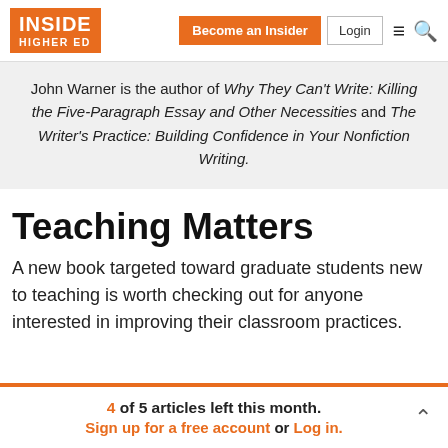Inside Higher Ed | Become an Insider | Login
John Warner is the author of Why They Can't Write: Killing the Five-Paragraph Essay and Other Necessities and The Writer's Practice: Building Confidence in Your Nonfiction Writing.
Teaching Matters
A new book targeted toward graduate students new to teaching is worth checking out for anyone interested in improving their classroom practices.
4 of 5 articles left this month. Sign up for a free account or Log in.